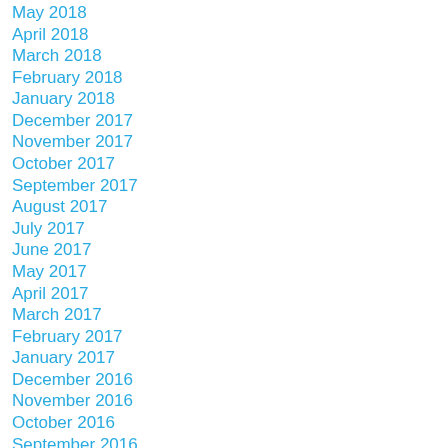May 2018
April 2018
March 2018
February 2018
January 2018
December 2017
November 2017
October 2017
September 2017
August 2017
July 2017
June 2017
May 2017
April 2017
March 2017
February 2017
January 2017
December 2016
November 2016
October 2016
September 2016
August 2016